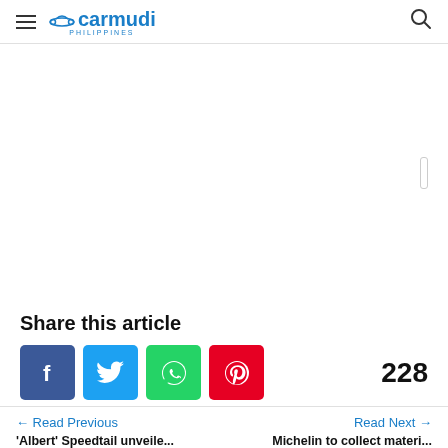Carmudi Philippines
[Figure (other): Blank white content/advertisement area with a small scroll indicator on the right side]
Share this article
[Figure (infographic): Social share buttons: Facebook (blue), Twitter (light blue), WhatsApp (green), Pinterest (red), with share count of 228]
← Read Previous
Read Next →
'Albert' Speedtail unveile...
Michelin to collect materi...